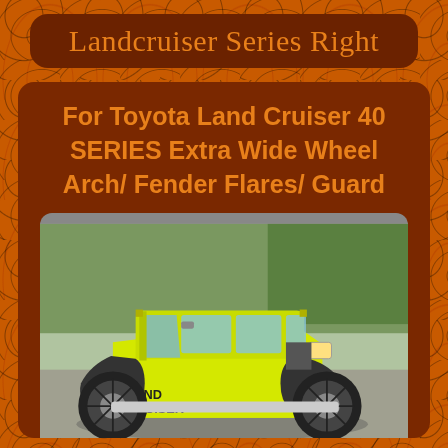Landcruiser Series Right
For Toyota Land Cruiser 40 SERIES Extra Wide Wheel Arch/ Fender Flares/ Guard
[Figure (photo): Yellow Toyota Land Cruiser 40 Series with wide fender flares/wheel arch guards installed, parked outside with trees in background. The vehicle has large off-road tires, black fender flares, and 'LAND CRUISER' lettering on the side.]